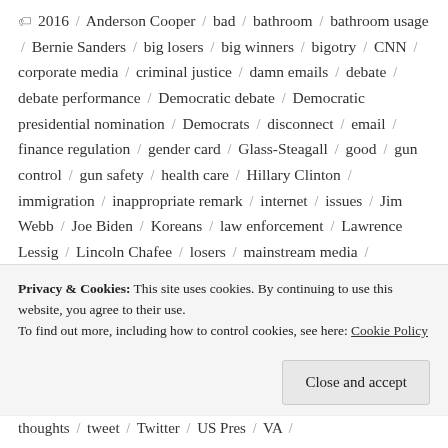🏷 2016 / Anderson Cooper / bad / bathroom / bathroom usage / Bernie Sanders / big losers / big winners / bigotry / CNN / corporate media / criminal justice / damn emails / debate / debate performance / Democratic debate / Democratic presidential nomination / Democrats / disconnect / email / finance regulation / gender card / Glass-Steagall / good / gun control / gun safety / health care / Hillary Clinton / immigration / inappropriate remark / internet / issues / Jim Webb / Joe Biden / Koreans / law enforcement / Lawrence Lessig / Lincoln Chafee / losers / mainstream media / marijuana /
Privacy & Cookies: This site uses cookies. By continuing to use this website, you agree to their use. To find out more, including how to control cookies, see here: Cookie Policy
thoughts / tweet / Twitter / US Pres / VA /